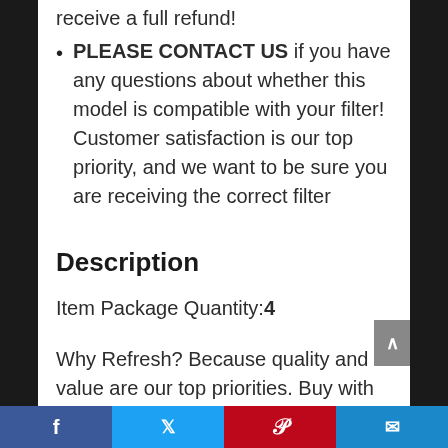PLEASE CONTACT US if you have any questions about whether this model is compatible with your filter! Customer satisfaction is our top priority, and we want to be sure you are receiving the correct filter
Description
Item Package Quantity:4
Why Refresh? Because quality and value are our top priorities. Buy with confidence from
Social share bar: Facebook, Twitter, Pinterest, Email